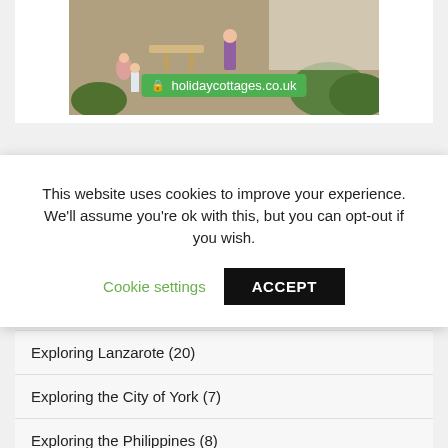[Figure (screenshot): Outdoor holiday cottage scene with people, tables, chairs, and a green URL badge showing holidaycottages.co.uk]
This website uses cookies to improve your experience. We'll assume you're ok with this, but you can opt-out if you wish.
Cookie settings
ACCEPT
Exploring Lanzarote (20)
Exploring the City of York (7)
Exploring the Philippines (8)
Exploring the UK (9)